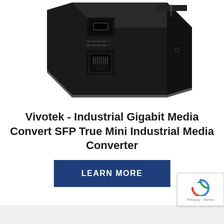[Figure (photo): Photo of a Vivotek industrial gigabit media converter device - a black rectangular box with SFP port, RJ45 port, and LED indicators, shown at an angle from above.]
Vivotek - Industrial Gigabit Media Convert SFP True Mini Industrial Media Converter
LEARN MORE
[Figure (logo): Google reCAPTCHA badge with spinning arrow icon and Privacy - Terms text]